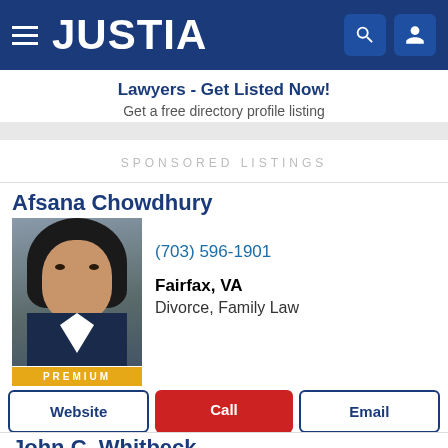[Figure (screenshot): Justia website navigation bar with hamburger menu, JUSTIA logo, search icon, and user icon on dark blue background]
Lawyers - Get Listed Now!
Get a free directory profile listing
SPONSORED LISTINGS
Afsana Chowdhury
[Figure (photo): Professional headshot of Afsana Chowdhury with PREMIUM badge]
(703) 596-1901
Fairfax, VA
Divorce, Family Law
Website   Call   Email
John C. Whitbeck